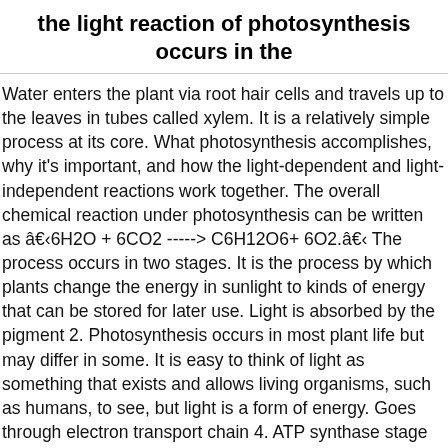the light reaction of photosynthesis occurs in the
Water enters the plant via root hair cells and travels up to the leaves in tubes called xylem. It is a relatively simple process at its core. What photosynthesis accomplishes, why it's important, and how the light-dependent and light-independent reactions work together. The overall chemical reaction under photosynthesis can be written as â6H2O + 6CO2 -----> C6H12O6+ 6O2.â The process occurs in two stages. It is the process by which plants change the energy in sunlight to kinds of energy that can be stored for later use. Light is absorbed by the pigment 2. Photosynthesis occurs in most plant life but may differ in some. It is easy to think of light as something that exists and allows living organisms, such as humans, to see, but light is a form of energy. Goes through electron transport chain 4. ATP synthase stage ... Write some factors that affect the rate at which photosynthesis occurs. This is the origin of